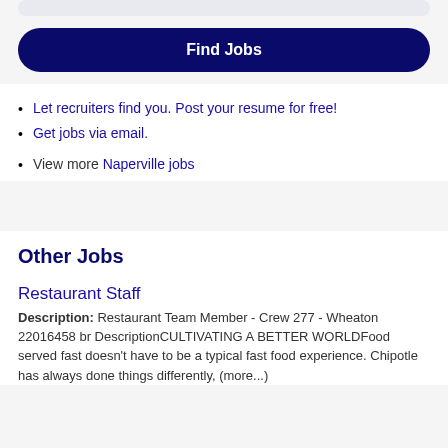[Figure (other): Partial top UI bar element, light blue/gray rounded rectangle]
Find Jobs
Let recruiters find you. Post your resume for free!
Get jobs via email.
View more Naperville jobs
Other Jobs
Restaurant Staff
Description: Restaurant Team Member - Crew 277 - Wheaton 22016458 br DescriptionCULTIVATING A BETTER WORLDFood served fast doesn't have to be a typical fast food experience. Chipotle has always done things differently, (more...)